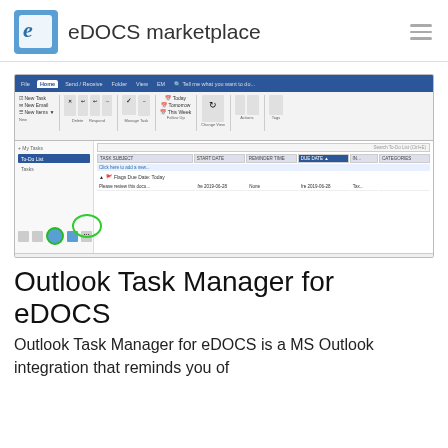eDOCS marketplace
[Figure (screenshot): Microsoft Outlook Tasks interface showing the To-Do List with a task 'Please review this docu...' due 2019-06-28, with a green circle highlighting the Tasks navigation icon at the bottom left.]
Outlook Task Manager for eDOCS
Outlook Task Manager for eDOCS is a MS Outlook integration that reminds you of